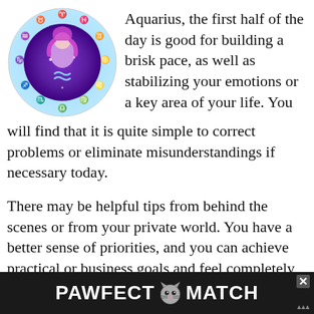[Figure (illustration): Circular zodiac wheel illustration with Aquarius woman in purple/blue tones in the center, surrounded by zodiac symbols]
Aquarius, the first half of the day is good for building a brisk pace, as well as stabilizing your emotions or a key area of your life. You will find that it is quite simple to correct problems or eliminate misunderstandings if necessary today.
There may be helpful tips from behind the scenes or from your private world. You have a better sense of priorities, and you can achieve practical or business goals and feel completely accomplished. You have a good idea of what is ex... easier to li...
[Figure (advertisement): PAWFECT MATCH advertisement banner with cat image on dark background]